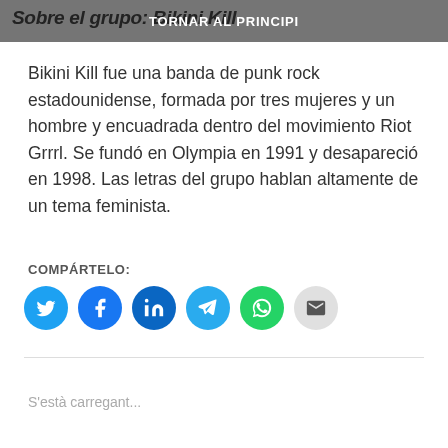Sobre el grupo: Bikini Kill | TORNAR AL PRINCIPI
Bikini Kill fue una banda de punk rock estadounidense, formada por tres mujeres y un hombre y encuadrada dentro del movimiento Riot Grrrl. Se fundó en Olympia en 1991 y desapareció en 1998. Las letras del grupo hablan altamente de un tema feminista.
COMPÁRTELO:
[Figure (infographic): Row of six circular social media share buttons: Twitter (blue), Facebook (blue), LinkedIn (dark blue), Telegram (light blue), WhatsApp (green), Email (grey)]
S'està carregant...
RELACIONADO